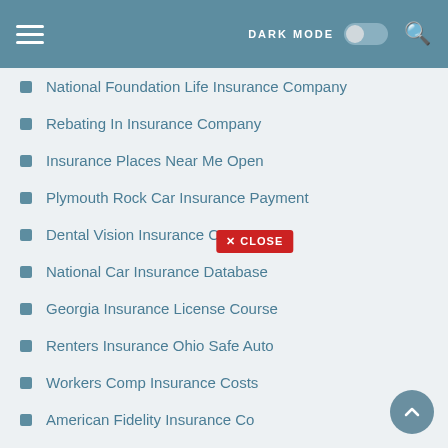DARK MODE (toggle) [search icon]
National Foundation Life Insurance Company
Rebating In Insurance Company
Insurance Places Near Me Open
Plymouth Rock Car Insurance Payment
Dental Vision Insurance Cost
National Car Insurance Database
Georgia Insurance License Course
Renters Insurance Ohio Safe Auto
Workers Comp Insurance Costs
American Fidelity Insurance Co
Us Cellular Insurance Claim Tracking
Engagement Ring Insurance Ireland
D And O Insurance Coverage